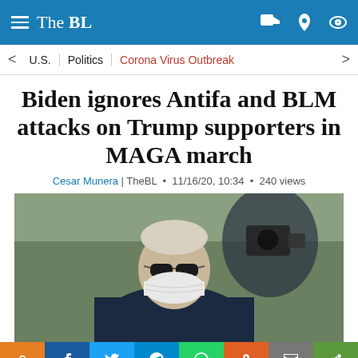The BL
U.S. | Politics | Corona Virus Outbreak
Biden ignores Antifa and BLM attacks on Trump supporters in MAGA march
Cesar Munera | TheBL • 11/16/20, 10:34 • 240 views
[Figure (photo): Photo of a person wearing sunglasses and a face mask, with a camera visible in the background]
Share buttons: pin, facebook, twitter, telegram, whatsapp, reddit, mail, more